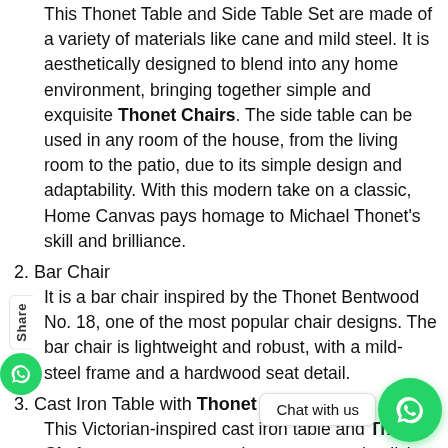This Thonet Table and Side Table Set are made of a variety of materials like cane and mild steel. It is aesthetically designed to blend into any home environment, bringing together simple and exquisite Thonet Chairs. The side table can be used in any room of the house, from the living room to the patio, due to its simple design and adaptability. With this modern take on a classic, Home Canvas pays homage to Michael Thonet's skill and brilliance.
2. Bar Chair
It is a bar chair inspired by the Thonet Bentwood No. 18, one of the most popular chair designs. The bar chair is lightweight and robust, with a mild-steel frame and a hardwood seat detail.
3. Cast Iron Table with Thonet Chairs
This Victorian-inspired cast iron table and Thonet Chair set creates a seamless ... simplicity and adaptability allow it to be used in a variety of settings.